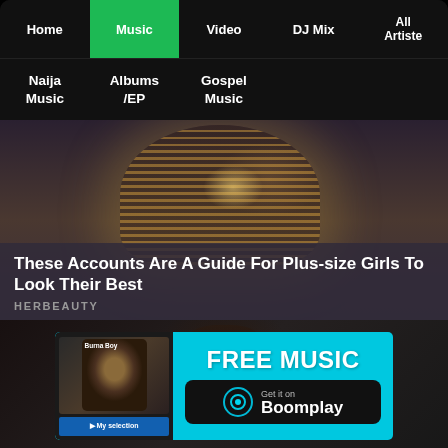Home | Music | Video | DJ Mix | All Artiste | Naija Music | Albums/EP | Gospel Music
[Figure (photo): Photo of a plus-size woman in a striped tube top with overlay text 'These Accounts Are A Guide For Plus-size Girls To Look Their Best' and source label 'HERBEAUTY']
These Accounts Are A Guide For Plus-size Girls To Look Their Best
HERBEAUTY
[Figure (screenshot): Boomplay music app advertisement banner with FREE MUSIC text, Burna Boy album art thumbnail, and Get it on Boomplay button on cyan background]